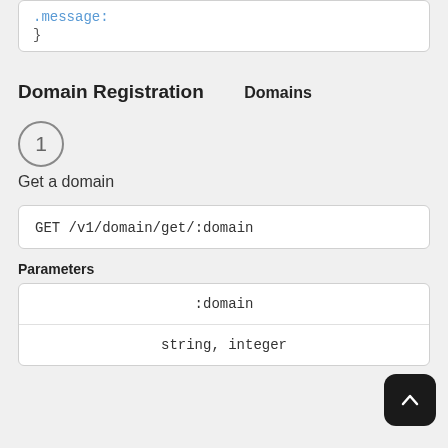.message: }
}
Domain Registration
Domains
1 - Get a domain
GET /v1/domain/get/:domain
Parameters
| :domain |
| string, integer |